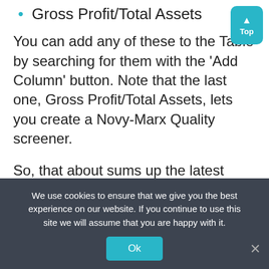Gross Profit/Total Assets
You can add any of these to the Table by searching for them with the ‘Add Column’ button. Note that the last one, Gross Profit/Total Assets, lets you create a Novy-Marx Quality screener.
So, that about sums up the latest release! With these additions Stock Rover is more powerful than ever, and the Portfolio Reporting facility in particular gives you unprecedented access to analytics that show how your portfolios are truly performing. As always, we
We use cookies to ensure that we give you the best experience on our website. If you continue to use this site we will assume that you are happy with it.